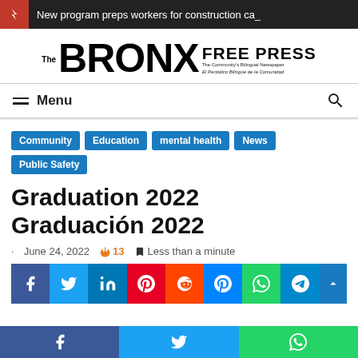New program preps workers for construction ca_
The BRONX FREE PRESS — The Community's Bilingual Newspaper / El Periódico Bilingüe de la Comunidad
Menu
Community
Education
mental health
News
Public Safety
Graduation 2022
Graduación 2022
June 24, 2022  🔥 13  🔖 Less than a minute